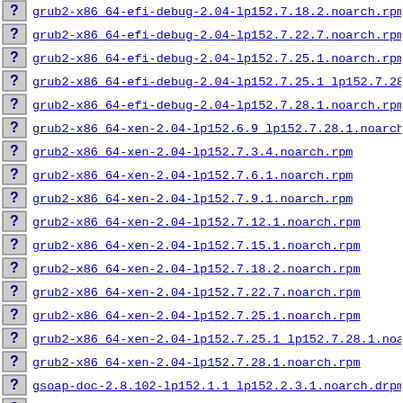grub2-x86_64-efi-debug-2.04-lp152.7.18.2.noarch.rpm
grub2-x86_64-efi-debug-2.04-lp152.7.22.7.noarch.rpm
grub2-x86_64-efi-debug-2.04-lp152.7.25.1.noarch.rpm
grub2-x86_64-efi-debug-2.04-lp152.7.25.1_lp152.7.28.1
grub2-x86_64-efi-debug-2.04-lp152.7.28.1.noarch.rpm
grub2-x86_64-xen-2.04-lp152.6.9_lp152.7.28.1.noarch.d
grub2-x86_64-xen-2.04-lp152.7.3.4.noarch.rpm
grub2-x86_64-xen-2.04-lp152.7.6.1.noarch.rpm
grub2-x86_64-xen-2.04-lp152.7.9.1.noarch.rpm
grub2-x86_64-xen-2.04-lp152.7.12.1.noarch.rpm
grub2-x86_64-xen-2.04-lp152.7.15.1.noarch.rpm
grub2-x86_64-xen-2.04-lp152.7.18.2.noarch.rpm
grub2-x86_64-xen-2.04-lp152.7.22.7.noarch.rpm
grub2-x86_64-xen-2.04-lp152.7.25.1.noarch.rpm
grub2-x86_64-xen-2.04-lp152.7.25.1_lp152.7.28.1.noarc
grub2-x86_64-xen-2.04-lp152.7.28.1.noarch.rpm
gsoap-doc-2.8.102-lp152.1.1_lp152.2.3.1.noarch.drpm
gsoap-doc-2.8.102-lp152.2.3.1.noarch.rpm